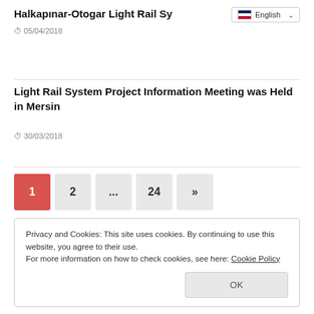Halkapınar-Otogar Light Rail Sy
05/04/2018
Light Rail System Project Information Meeting was Held in Mersin
30/03/2018
1  2  ...  24  »
Privacy and Cookies: This site uses cookies. By continuing to use this website, you agree to their use.
For more information on how to check cookies, see here: Cookie Policy
OK